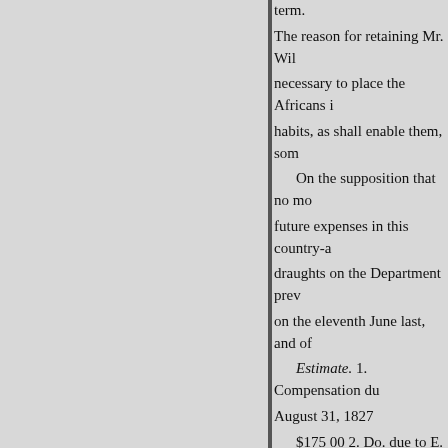term.
The reason for retaining Mr. Wil necessary to place the Africans i habits, as shall enable them, som
On the supposition that no mo future expenses in this country-a draughts on the Department prev on the eleventh June last, and of
Estimate. 1. Compensation du August 31, 1827
$175 00 2. Do. due to E. Johns
75 00 3. Do. due to E. Johnson
to be rendered the ensuing six m
166 50 1. Do. due to Griffin, S
ters, for carpenters' work accom and Superintendent at Stocktont
200 00 5. Do. due to the same Mesurado